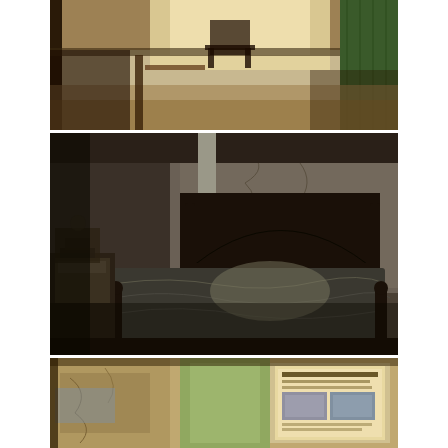[Figure (photo): Three stacked photographs of an abandoned building interior. Top photo shows a derelict attic or upper room with debris and structural elements visible in bright light. Middle photo shows an abandoned bedroom with an ornate dark metal spool/bobbin-style bed frame, dusty bedding, peeling wallpaper, and a small nightstand. Bottom photo shows a hallway or room interior with deteriorating walls and an informational display board visible.]